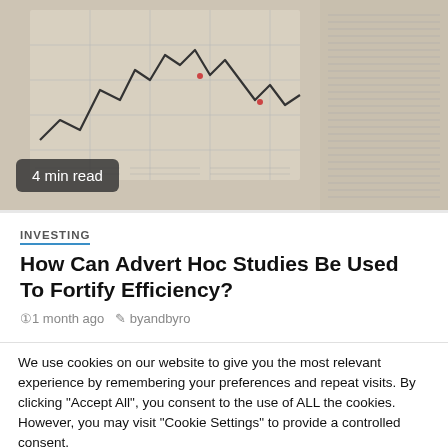[Figure (photo): Photo of financial charts and stock market data printed on paper, showing line charts and tabular data columns]
4 min read
INVESTING
How Can Advert Hoc Studies Be Used To Fortify Efficiency?
1 month ago  byandbyro
We use cookies on our website to give you the most relevant experience by remembering your preferences and repeat visits. By clicking "Accept All", you consent to the use of ALL the cookies. However, you may visit "Cookie Settings" to provide a controlled consent.